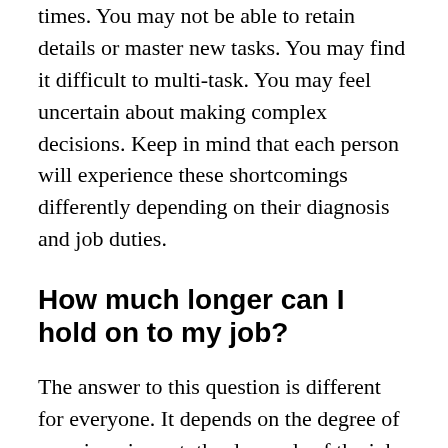times. You may not be able to retain details or master new tasks. You may find it difficult to multi-task. You may feel uncertain about making complex decisions. Keep in mind that each person will experience these shortcomings differently depending on their diagnosis and job duties.
How much longer can I hold on to my job?
The answer to this question is different for everyone. It depends on the degree of your impairment, the demands of the job, the